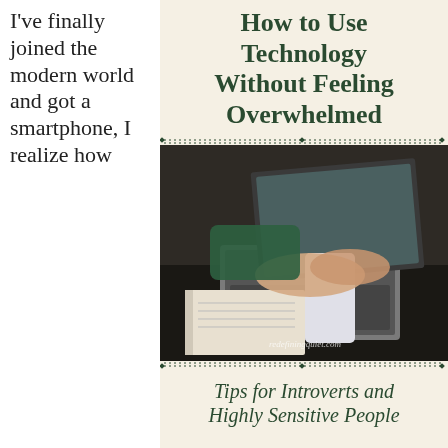I've finally joined the modern world and got a smartphone, I realize how
How to Use Technology Without Feeling Overwhelmed
[Figure (photo): A woman typing on a laptop at a desk with an open notebook and smartphone beside her, photographed from above-side angle. Watermark: redefiningquiet.com]
Tips for Introverts and Highly Sensitive People